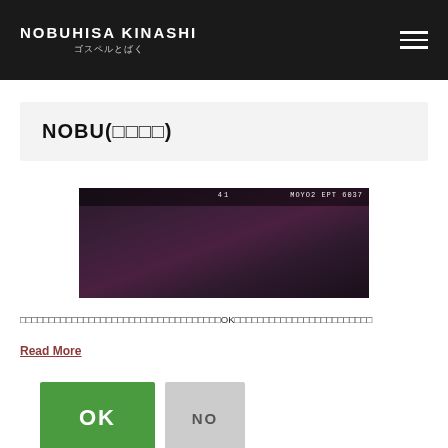NOBUHISA KINASHI ゴスペルとばく
NOBU(□□□□)
[Figure (photo): A dark film photograph, appears to be a film strip frame with text overlay reading '41' and 'MOYO2 EPT 6037' at the top.]
□□□□□□□□□□□□□□□□□□□□□□□□□□□□□□□□□□OKと□□□□□□□□□□□□□□□□□□□□□□□□
Read More
OK  NO